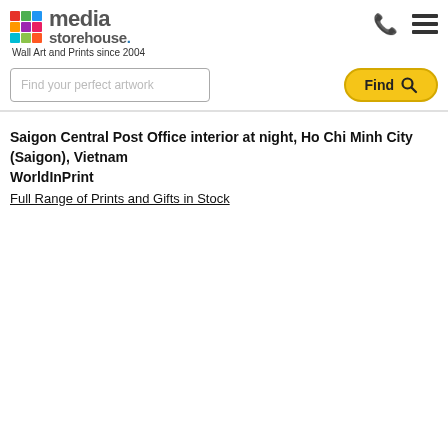media storehouse. Wall Art and Prints since 2004
Find your perfect artwork  Find
Saigon Central Post Office interior at night, Ho Chi Minh City (Saigon), Vietnam
WorldInPrint
Full Range of Prints and Gifts in Stock